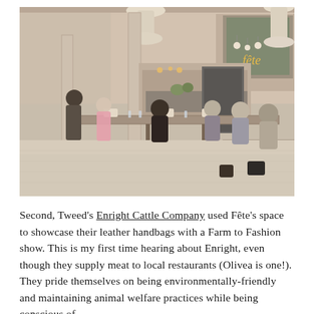[Figure (photo): Interior photo of Fête venue/event space showing people seated at long industrial tables, pendant lights hanging from ceiling, white columns, a bar/kitchen area in the background with glowing 'fête' neon sign, and a projection screen on the right side.]
Second, Tweed's Enright Cattle Company used Fête's space to showcase their leather handbags with a Farm to Fashion show. This is my first time hearing about Enright, even though they supply meat to local restaurants (Olivea is one!). They pride themselves on being environmentally-friendly and maintaining animal welfare practices while being conscious of